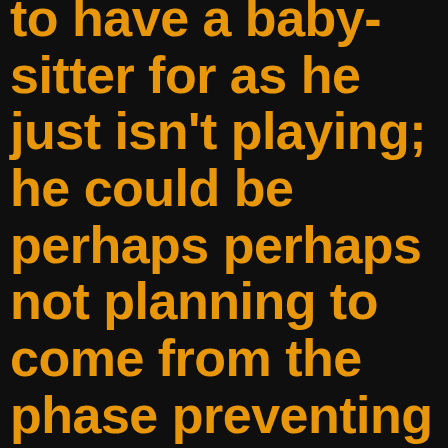to have a baby-sitter for as he just isn't playing; he could be perhaps perhaps not planning to come from the phase preventing you against making